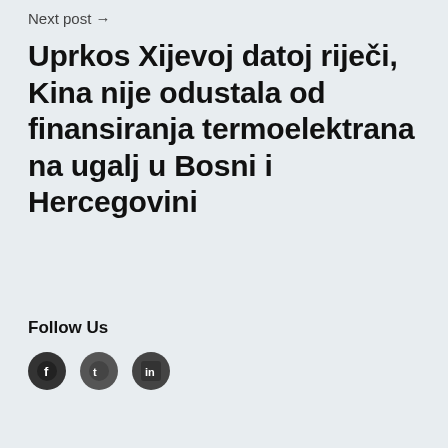Next post →
Uprkos Xijevoj datoj riječi, Kina nije odustala od finansiranja termoelektrana na ugalj u Bosni i Hercegovini
Follow Us